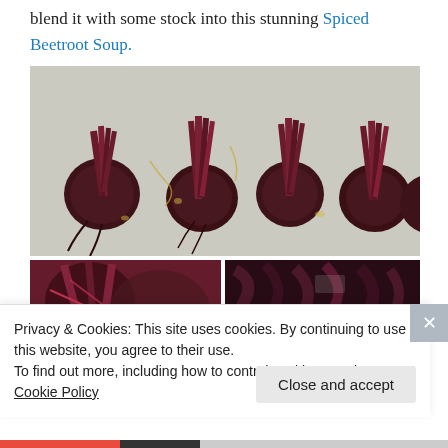blend it with some stock into this stunning Spiced Beetroot Soup.
[Figure (photo): Several whole raw beetroots with their stalks and leaves still attached, laid on a flat surface with olive oil drizzled over them, top-down view]
[Figure (photo): Two smaller images at the bottom: left shows close-up of beetroot pieces with red coloring; right shows roasted dark beetroot greens/leaves]
Privacy & Cookies: This site uses cookies. By continuing to use this website, you agree to their use.
To find out more, including how to control cookies, see here: Cookie Policy